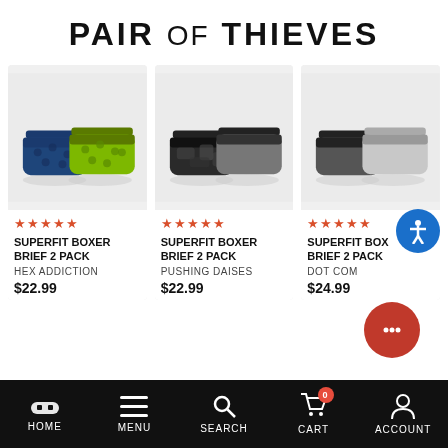PAIR OF THIEVES
[Figure (screenshot): Product card 1: Superfit Boxer Brief 2 Pack - Hex Addiction - two boxer briefs in blue and yellow-green pattern]
★★★★★
SUPERFIT BOXER BRIEF 2 PACK
HEX ADDICTION
$22.99
[Figure (screenshot): Product card 2: Superfit Boxer Brief 2 Pack - Pushing Daises - two boxer briefs in camo black and grey]
★★★★★
SUPERFIT BOXER BRIEF 2 PACK
PUSHING DAISES
$22.99
[Figure (screenshot): Product card 3: Superfit Boxer Brief 2 Pack - Dot Com - two boxer briefs in dark grey and light grey]
★★★★★
SUPERFIT BOXER BRIEF 2 PACK
DOT COM
$24.99
HOME  MENU  SEARCH  CART  ACCOUNT